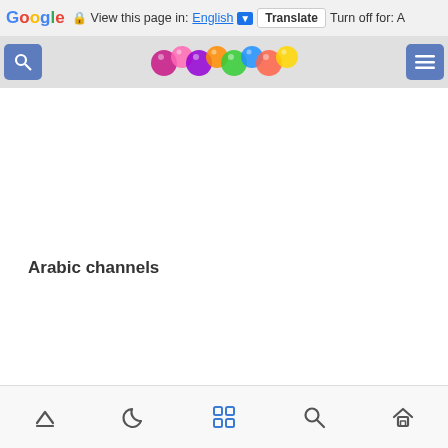Google  View this page in: English ▼  Translate  Turn off for: A
[Figure (screenshot): Browser navigation bar with blue search icon on left, colorful balls/beads logo in center, and blue menu icon on right]
Arabic channels
German TV channels
Bottom navigation bar with up arrow, moon/night mode, grid/apps, search, and home icons